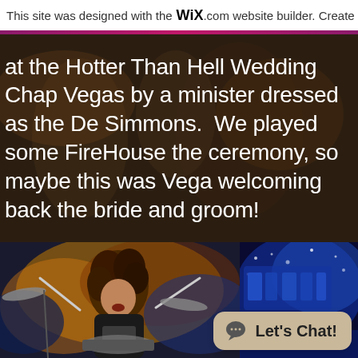This site was designed with the WIX.com website builder. Create yo
at the Hotter Than Hell Wedding Chap Vegas by a minister dressed as the De Simmons.  We played some FireHouse the ceremony, so maybe this was Vega welcoming back the bride and groom!
[Figure (photo): Drummer with long curly hair playing drums energetically on stage, wearing a black t-shirt with band logo, colorful background]
[Figure (photo): Blue-lit concert stage with partial band name/logo visible in background]
Let's Chat!